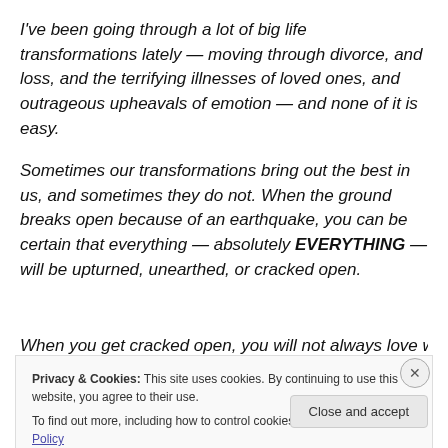I've been going through a lot of big life transformations lately — moving through divorce, and loss, and the terrifying illnesses of loved ones, and outrageous upheavals of emotion — and none of it is easy.
Sometimes our transformations bring out the best in us, and sometimes they do not. When the ground breaks open because of an earthquake, you can be certain that everything — absolutely EVERYTHING — will be upturned, unearthed, or cracked open.
When you get cracked open, you will not always love what
Privacy & Cookies: This site uses cookies. By continuing to use this website, you agree to their use.
To find out more, including how to control cookies, see here: Cookie Policy
Close and accept